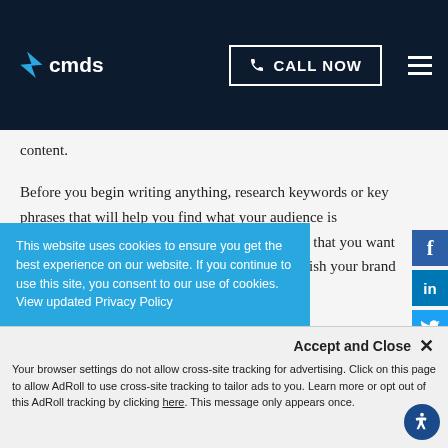CMDS — CALL NOW
content.
Before you begin writing anything, research keywords or key phrases that will help you find what your audience is searching. Keywords are those words or phrases that you want to rank for in search engines. It also helps establish your brand as an authority on those selected keywords.
...aks that ...ontent will ...
This website uses cookies to ensure you get the best experience on our website. If you continue to use this site, you consent to our use of cookies. View updated Privacy Policy
Accept and Close ✕
Your browser settings do not allow cross-site tracking for advertising. Click on this page to allow AdRoll to use cross-site tracking to tailor ads to you. Learn more or opt out of this AdRoll tracking by clicking here. This message only appears once.